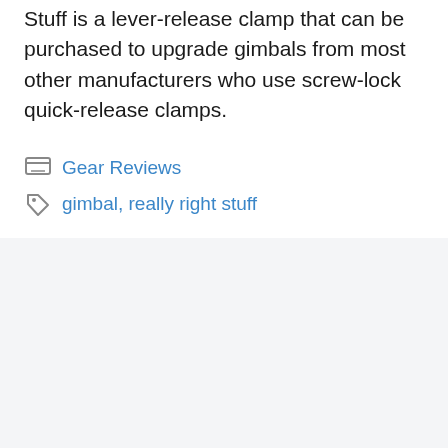Stuff is a lever-release clamp that can be purchased to upgrade gimbals from most other manufacturers who use screw-lock quick-release clamps.
Gear Reviews
gimbal, really right stuff